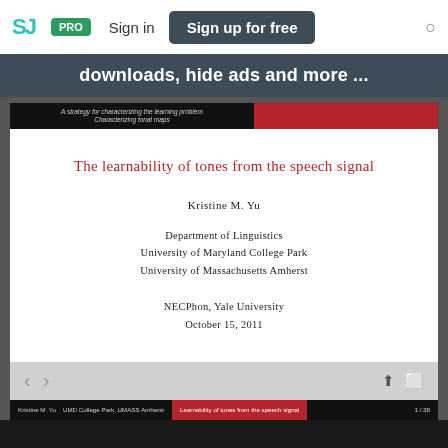SJ PRO Sign in Sign up for free
downloads, hide ads and more ...
[Figure (screenshot): A screenshot of a SlideShare presentation viewer showing the title slide of 'The learnability of tones from the speech signal' by Kristine M. Yu, Department of Linguistics, University of Maryland College Park, University of Massachusetts Amherst, presented at NECPhon, Yale University, October 15, 2011. Slide 1 of 38.]